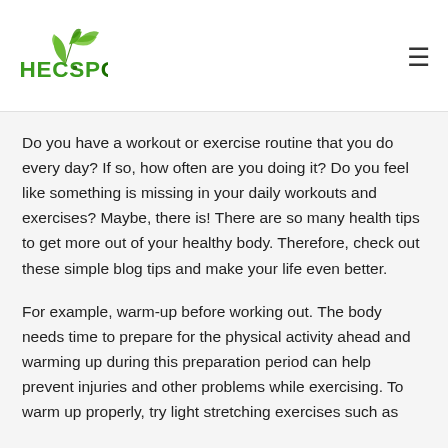HECSPOT
Do you have a workout or exercise routine that you do every day? If so, how often are you doing it? Do you feel like something is missing in your daily workouts and exercises? Maybe, there is! There are so many health tips to get more out of your healthy body. Therefore, check out these simple blog tips and make your life even better.
For example, warm-up before working out. The body needs time to prepare for the physical activity ahead and warming up during this preparation period can help prevent injuries and other problems while exercising. To warm up properly, try light stretching exercises such as